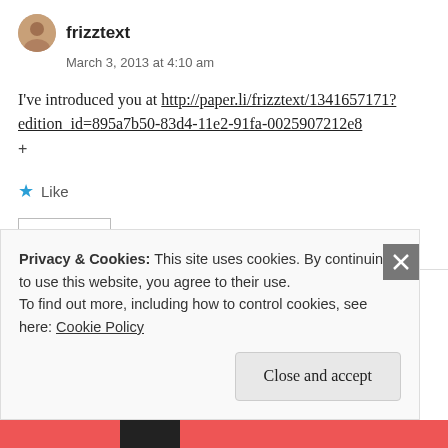frizztext
March 3, 2013 at 4:10 am
I've introduced you at http://paper.li/frizztext/1341657171?edition_id=895a7b50-83d4-11e2-91fa-0025907212e8
+
★ Like
REPLY
Privacy & Cookies: This site uses cookies. By continuing to use this website, you agree to their use.
To find out more, including how to control cookies, see here: Cookie Policy
Close and accept